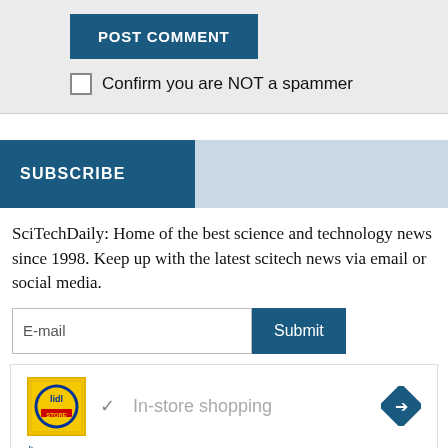POST COMMENT
Confirm you are NOT a spammer
SUBSCRIBE
SciTechDaily: Home of the best science and technology news since 1998. Keep up with the latest scitech news via email or social media.
E-mail
Submit
[Figure (other): Advertisement banner showing Lidl logo with 'In-store shopping' text and a blue diamond arrow icon, with play and close controls below.]